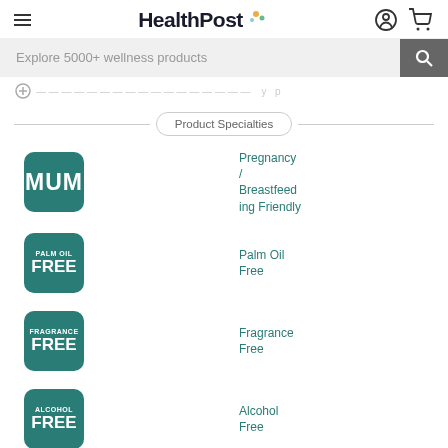HealthPost
Explore 5000+ wellness products
Product Specialties
[Figure (logo): MUM badge icon - teal rounded square with white text MUM]
Pregnancy / Breastfeeding Friendly
[Figure (logo): PALM OIL FREE badge icon - teal rounded square with white text PALM OIL FREE]
Palm Oil Free
[Figure (logo): FRAGRANCE FREE badge icon - teal rounded square with white text FRAGRANCE FREE]
Fragrance Free
[Figure (logo): ALCOHOL FREE badge icon - teal rounded square with white text ALCOHOL FREE]
Alcohol Free
Highlights